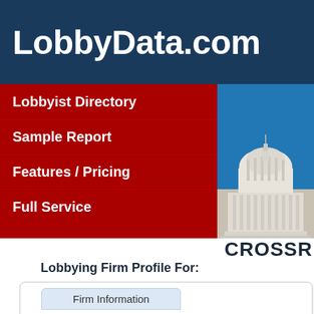LobbyData.com
Lobbyist Directory
Sample Report
Features / Pricing
Full Service
[Figure (photo): Photo of the US Capitol building dome against a blue sky]
CROSSR
Lobbying Firm Profile For:
Firm Information
Firm Statistics*:
Clients Served: 19